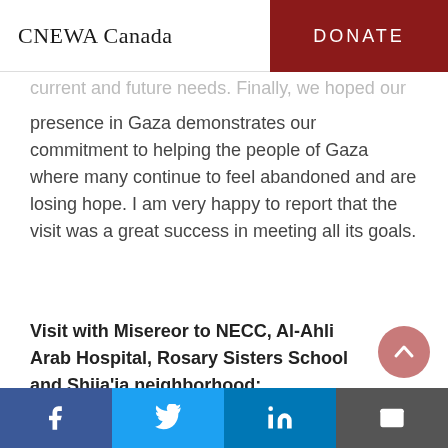CNEWA Canada | DONATE
current and future needs. Finally, we hoped our presence in Gaza demonstrates our commitment to helping the people of Gaza where many continue to feel abandoned and are losing hope. I am very happy to report that the visit was a great success in meeting all its goals.
Visit with Misereor to NECC, Al-Ahli Arab Hospital, Rosary Sisters School and Shija'ia neighborhood:
[Figure (other): Social media share buttons footer: Facebook (blue), Twitter (light blue), LinkedIn (dark blue), Email (grey)]